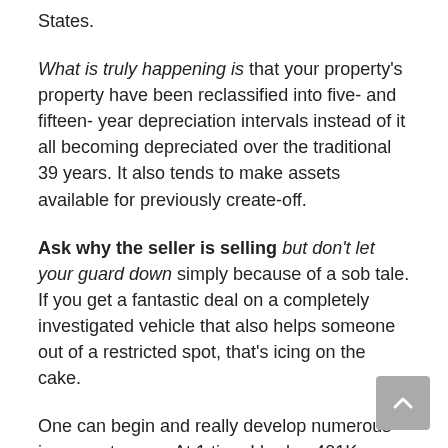States.
What is truly happening is that your property's property have been reclassified into five- and fifteen- year depreciation intervals instead of it all becoming depreciated over the traditional 39 years. It also tends to make assets available for previously create-off.
Ask why the seller is selling but don't let your guard down simply because of a sob tale. If you get a fantastic deal on a completely investigated vehicle that also helps someone out of a restricted spot, that's icing on the cake.
One can begin and really develop numerous income streams. At 1 time I had, a 401K, Financial...